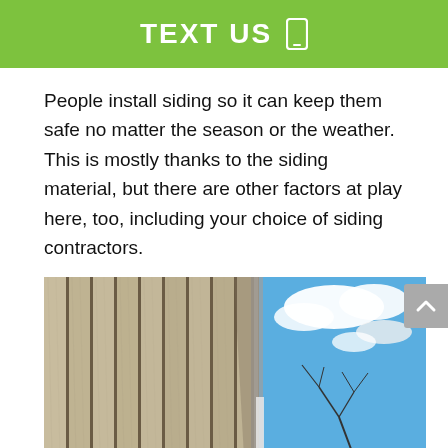TEXT US
People install siding so it can keep them safe no matter the season or the weather. This is mostly thanks to the siding material, but there are other factors at play here, too, including your choice of siding contractors.
[Figure (photo): Photo of vertical board-and-batten siding on a building shot from a low angle against a blue sky with white clouds and bare tree branches visible]